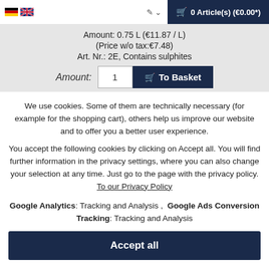🛒 0 Article(s) (€0.00*)
Amount: 0.75 L (€11.87 / L)
(Price w/o tax:€7.48)
Art. Nr.: 2E, Contains sulphites
Amount: 1   To Basket
We use cookies. Some of them are technically necessary (for example for the shopping cart), others help us improve our website and to offer you a better user experience.
You accept the following cookies by clicking on Accept all. You will find further information in the privacy settings, where you can also change your selection at any time. Just go to the page with the privacy policy. To our Privacy Policy
Google Analytics: Tracking and Analysis ,  Google Ads Conversion Tracking: Tracking and Analysis
Accept all
Accept only technically necessary
Individuelle Einstellungen